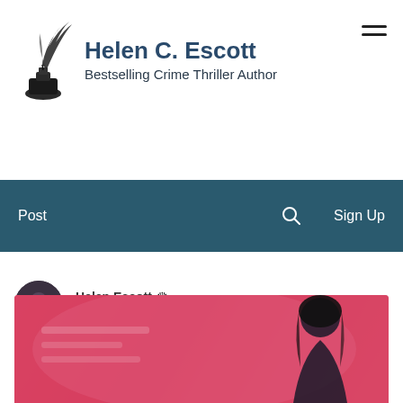[Figure (logo): Quill pen and ink bottle logo for Helen C. Escott, Bestselling Crime Thriller Author website header]
Helen C. Escott
Bestselling Crime Thriller Author
Post
Sign Up
Helen Escott Admin
Sep 29, 2020  •  5 min
My mother says the strangest things
[Figure (photo): Pink/red background with a dark-haired woman silhouette or photo]